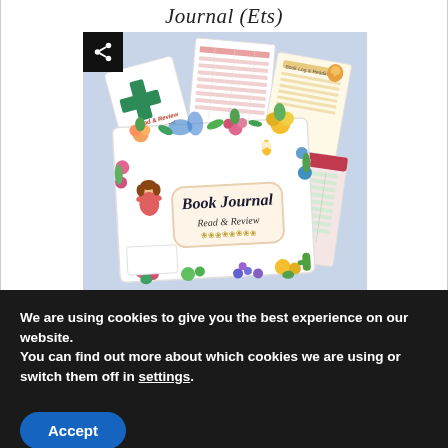Journal (Ets)
[Figure (photo): Product image of a Book Journal: Read & Review. Shows the book journal cover with floral decorations and several interior tracking pages fanned around it. A share icon button is displayed in the top-left corner of the image.]
We are using cookies to give you the best experience on our website.
You can find out more about which cookies we are using or switch them off in settings.
Accept